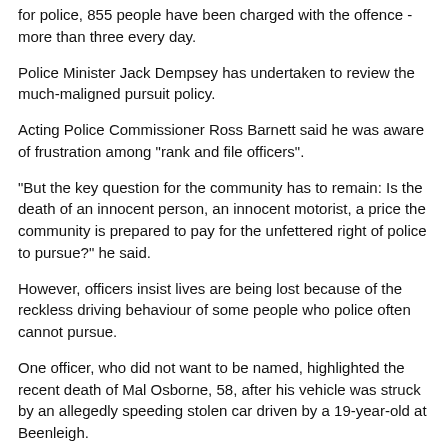for police, 855 people have been charged with the offence - more than three every day.
Police Minister Jack Dempsey has undertaken to review the much-maligned pursuit policy.
Acting Police Commissioner Ross Barnett said he was aware of frustration among "rank and file officers".
"But the key question for the community has to remain: Is the death of an innocent person, an innocent motorist, a price the community is prepared to pay for the unfettered right of police to pursue?" he said.
However, officers insist lives are being lost because of the reckless driving behaviour of some people who police often cannot pursue.
One officer, who did not want to be named, highlighted the recent death of Mal Osborne, 58, after his vehicle was struck by an allegedly speeding stolen car driven by a 19-year-old at Beenleigh.